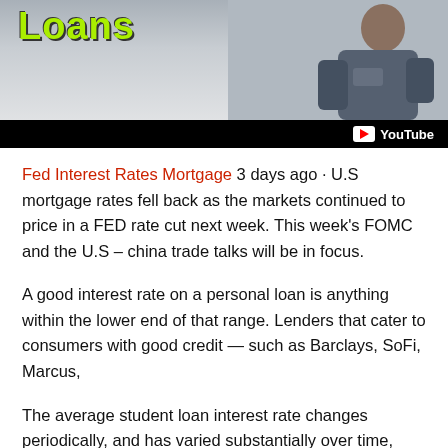[Figure (screenshot): YouTube video thumbnail showing 'Loans' text in green on gray background with a person, and a YouTube logo bar at the bottom]
Fed Interest Rates Mortgage 3 days ago · U.S mortgage rates fell back as the markets continued to price in a FED rate cut next week. This week's FOMC and the U.S – china trade talks will be in focus.
A good interest rate on a personal loan is anything within the lower end of that range. Lenders that cater to consumers with good credit — such as Barclays, SoFi, Marcus,
The average student loan interest rate changes periodically, and has varied substantially over time, with rates starting of around 6.94% or greater for different types of student loans